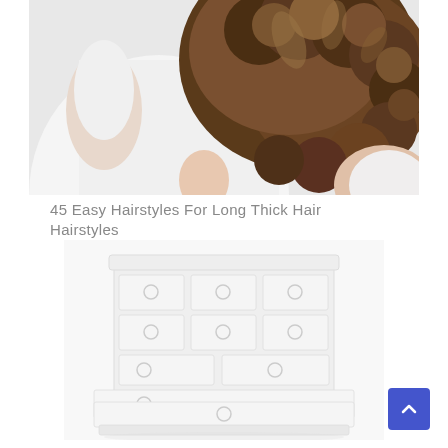[Figure (photo): Close-up photo of a woman in a white top with long curly brown hair styled up, shot from behind/side on a light background.]
45 Easy Hairstyles For Long Thick Hair Hairstyles
[Figure (photo): Photo of a white vintage dresser/chest of drawers with round ring handles, shown on a white background.]